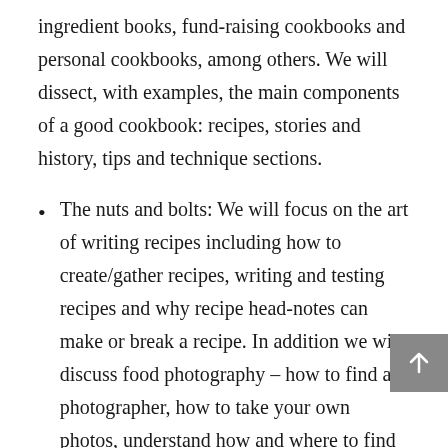ingredient books, fund-raising cookbooks and personal cookbooks, among others. We will dissect, with examples, the main components of a good cookbook: recipes, stories and history, tips and technique sections.
The nuts and bolts: We will focus on the art of writing recipes including how to create/gather recipes, writing and testing recipes and why recipe head-notes can make or break a recipe. In addition we will discuss food photography – how to find a photographer, how to take your own photos, understand how and where to find